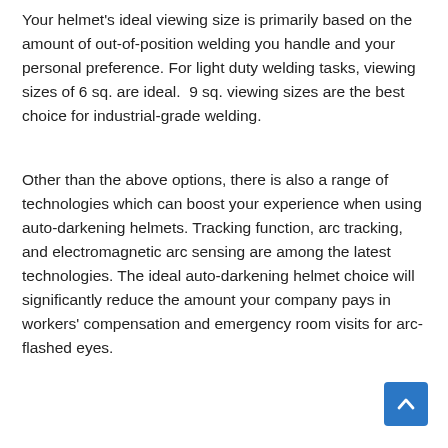Your helmet's ideal viewing size is primarily based on the amount of out-of-position welding you handle and your personal preference. For light duty welding tasks, viewing sizes of 6 sq. are ideal.  9 sq. viewing sizes are the best choice for industrial-grade welding.
Other than the above options, there is also a range of technologies which can boost your experience when using auto-darkening helmets. Tracking function, arc tracking, and electromagnetic arc sensing are among the latest technologies. The ideal auto-darkening helmet choice will significantly reduce the amount your company pays in workers' compensation and emergency room visits for arc-flashed eyes.